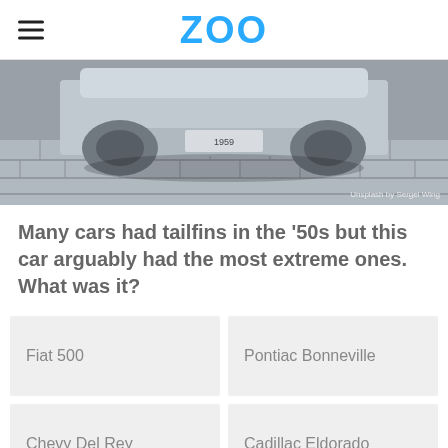ZOO
[Figure (photo): Bottom/rear view of a classic car from the 1950s parked on a stone/cobblestone surface, shown in desaturated grayscale. License plate area visible with '1959'. Image credit: Unsplash by Sergei Wing]
Many cars had tailfins in the '50s but this car arguably had the most extreme ones. What was it?
Fiat 500
Pontiac Bonneville
Chevy Del Rey
Cadillac Eldorado
Advertisement